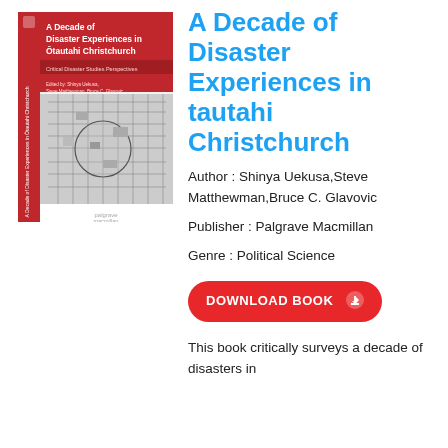[Figure (illustration): Book cover of 'A Decade of Disaster Experiences in Ōtautahi Christchurch' with red spine and monochrome city map graphic, published by Palgrave Macmillan]
A Decade of Disaster Experiences in tautahi Christchurch
Author : Shinya Uekusa,Steve Matthewman,Bruce C. Glavovic
Publisher : Palgrave Macmillan
Genre : Political Science
DOWNLOAD BOOK
This book critically surveys a decade of disasters in